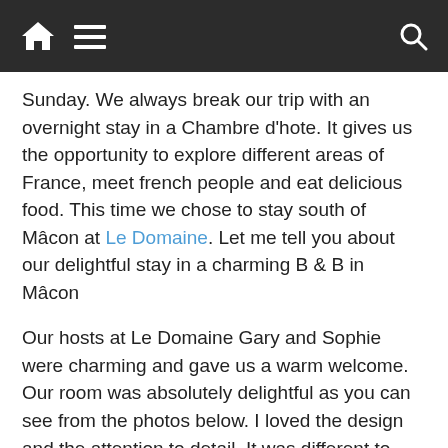[navigation bar with home icon, hamburger menu, and search icon]
Sunday. We always break our trip with an overnight stay in a Chambre d'hote. It gives us the opportunity to explore different areas of France, meet french people and eat delicious food. This time we chose to stay south of Mâcon at Le Domaine. Let me tell you about our delightful stay in a charming B & B in Mâcon
Our hosts at Le Domaine Gary and Sophie were charming and gave us a warm welcome. Our room was absolutely delightful as you can see from the photos below. I loved the design and the attention to detail. It was different to many of the other houses we have stayed in. I would describe the decor as modern with a French touch. There are many features that I hope to be able to incorporate when we finally get to buy our new house in the UK.